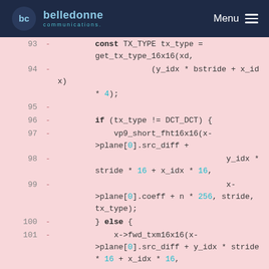belledonne communications — Menu
[Figure (screenshot): Source code diff view showing lines 93-102 of a C/C++ file with removed lines (marked with '-') on a pink background. Code shows get_tx_type_16x16, vp9_short_fht16x16, and fwd_txm16x16 function calls with plane[0].src_diff and plane[0].coeff operations.]